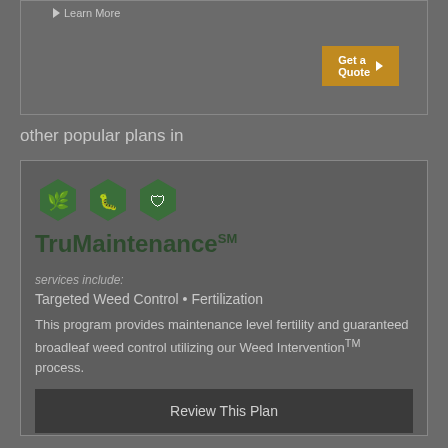Learn More
Get a Quote
other popular plans in
[Figure (logo): Three green hexagon icons for TruMaintenance plan]
TruMaintenanceSM
services include:
Targeted Weed Control • Fertilization
This program provides maintenance level fertility and guaranteed broadleaf weed control utilizing our Weed InterventionTM process.
Review This Plan